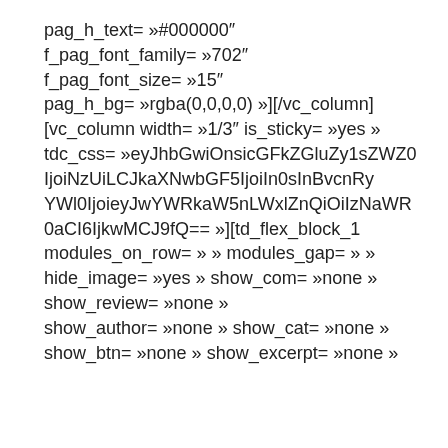pag_h_text= »#000000″
f_pag_font_family= »702″
f_pag_font_size= »15″
pag_h_bg= »rgba(0,0,0,0) »][/vc_column]
[vc_column width= »1/3″ is_sticky= »yes »
tdc_css= »eyJhbGwiOnsicGFkZGluZy1sZWZ0IjoiNzUiLCJkaXNwbGF5IjoiIn0sInBvcnRyYWl0IjoieyJwYWRkaW5nLWxlZnQiOiIzNaWR0aCI6IjkwMCJ9fQ== »][td_flex_block_1
modules_on_row= » » modules_gap= » »
hide_image= »yes » show_com= »none »
show_review= »none »
show_author= »none » show_cat= »none »
show_btn= »none » show_excerpt= »none »